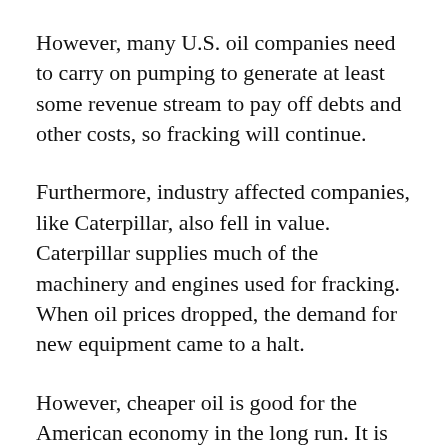However, many U.S. oil companies need to carry on pumping to generate at least some revenue stream to pay off debts and other costs, so fracking will continue.
Furthermore, industry affected companies, like Caterpillar, also fell in value. Caterpillar supplies much of the machinery and engines used for fracking. When oil prices dropped, the demand for new equipment came to a halt.
However, cheaper oil is good for the American economy in the long run. It is estimated that savings from tumbling gas